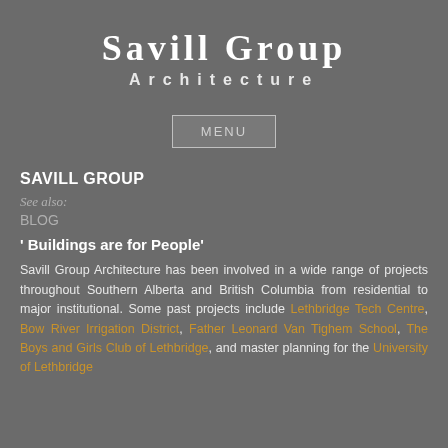Savill Group Architecture
[Figure (other): MENU navigation button/widget]
SAVILL GROUP
See also:
BLOG
' Buildings are for People'
Savill Group Architecture has been involved in a wide range of projects throughout Southern Alberta and British Columbia from residential to major institutional. Some past projects include Lethbridge Tech Centre, Bow River Irrigation District, Father Leonard Van Tighem School, The Boys and Girls Club of Lethbridge, and master planning for the University of Lethbridge